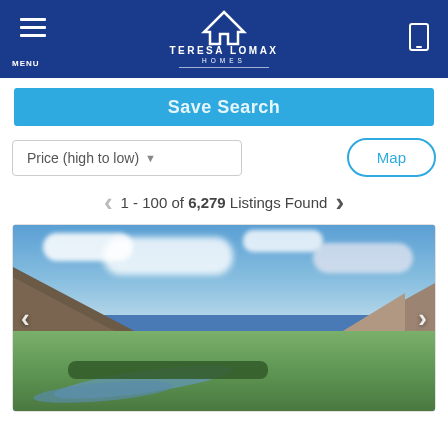MENU | TERESA LOMAX HOMES
Save Search
Price (high to low)
Map
1 - 100 of 6,279 Listings Found
[Figure (photo): Aerial landscape photo showing a winding river through a valley with brown rocky mountains, green fields, trees, and blue sky with clouds]